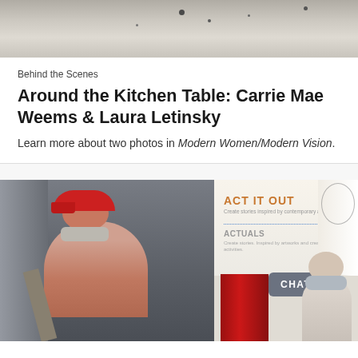[Figure (photo): Top cropped photo showing a textured ceiling or wall surface with gray tones and speckles.]
Behind the Scenes
Around the Kitchen Table: Carrie Mae Weems & Laura Letinsky
Learn more about two photos in Modern Women/Modern Vision.
[Figure (photo): Bottom photo showing a museum gallery scene. On the left, a person wearing a red cap and face mask sits in the gallery near gray curtains. On the right, signage reads 'ACT IT OUT' and 'ACTUALLY' with a dotted line between them; a red drape hangs below; a young child with a face mask stands near decorative elements; a gray 'CHAT' button is overlaid on the image.]